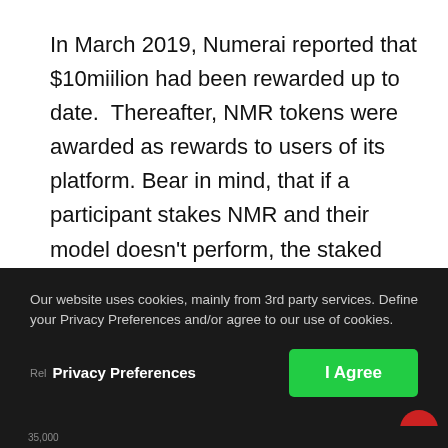In March 2019, Numerai reported that $10miilion had been rewarded up to date.  Thereafter, NMR tokens were awarded as rewards to users of its platform. Bear in mind, that if a participant stakes NMR and their model doesn't perform, the staked tokens are burnt.
According to Numerai, the NMR token is one of the most used ERC20 tokens. By end of 2018 reporting 25,000 stakes of NMR.
Our website uses cookies, mainly from 3rd party services. Define your Privacy Preferences and/or agree to our use of cookies.
Privacy Preferences
I Agree